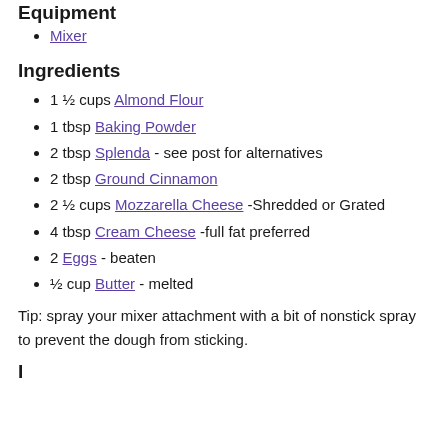Equipment
Mixer
Ingredients
1 ½ cups Almond Flour
1 tbsp Baking Powder
2 tbsp Splenda - see post for alternatives
2 tbsp Ground Cinnamon
2 ½ cups Mozzarella Cheese -Shredded or Grated
4 tbsp Cream Cheese -full fat preferred
2 Eggs - beaten
½ cup Butter - melted
Tip: spray your mixer attachment with a bit of nonstick spray to prevent the dough from sticking.
Instructions